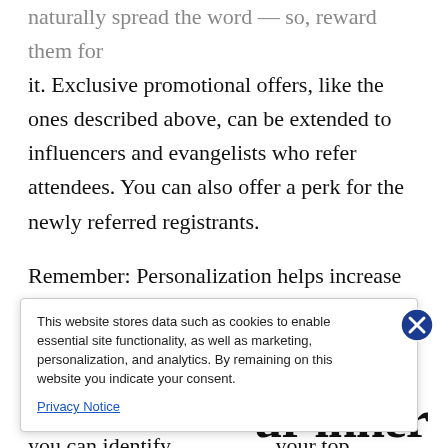naturally spread the word — so, reward them for it. Exclusive promotional offers, like the ones described above, can be extended to influencers and evangelists who refer attendees. You can also offer a perk for the newly referred registrants.

Remember: Personalization helps increase engagement, so consider taking the time to generate custom codes. Look for event platforms that track referrals for registrations, so you can identify your top evangelists
[Figure (screenshot): Cookie consent popup overlay with text: 'This website stores data such as cookies to enable essential site functionality, as well as marketing, personalization, and analytics. By remaining on this website you indicate your consent.' with a Privacy Notice link and a close (X) button.]
ur inner